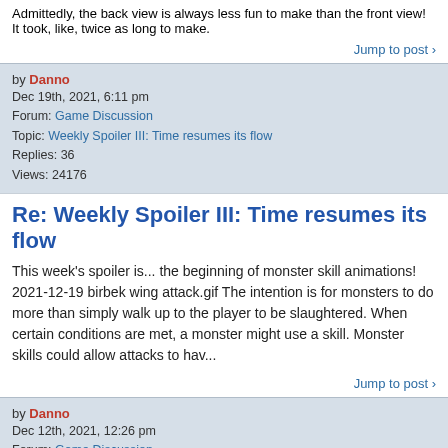Admittedly, the back view is always less fun to make than the front view! It took, like, twice as long to make.
Jump to post
by Danno
Dec 19th, 2021, 6:11 pm
Forum: Game Discussion
Topic: Weekly Spoiler III: Time resumes its flow
Replies: 36
Views: 24176
Re: Weekly Spoiler III: Time resumes its flow
This week's spoiler is... the beginning of monster skill animations! 2021-12-19 birbek wing attack.gif The intention is for monsters to do more than simply walk up to the player to be slaughtered. When certain conditions are met, a monster might use a skill. Monster skills could allow attacks to hav...
Jump to post
by Danno
Dec 12th, 2021, 12:26 pm
Forum: Game Discussion
Topic: Weekly Spoiler III: Time resumes its flow
Replies: 36
Views: 24176
Re: Weekly Spoiler III: Time resumes its flow
This week's spoiler is... Birbek's idle animation!
[Figure (illustration): Green/olive colored image placeholder at bottom of page]